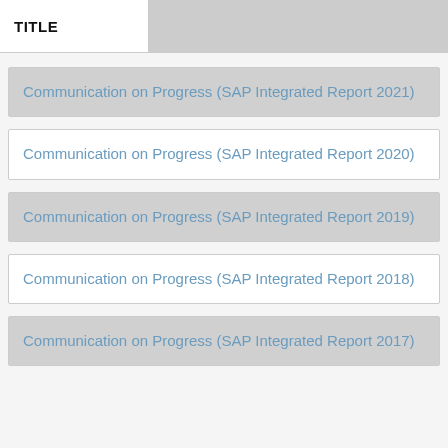TITLE
Communication on Progress (SAP Integrated Report 2021)
Communication on Progress (SAP Integrated Report 2020)
Communication on Progress (SAP Integrated Report 2019)
Communication on Progress (SAP Integrated Report 2018)
Communication on Progress (SAP Integrated Report 2017)